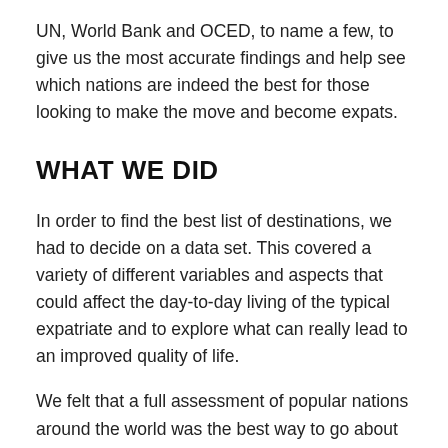UN, World Bank and OCED, to name a few, to give us the most accurate findings and help see which nations are indeed the best for those looking to make the move and become expats.
WHAT WE DID
In order to find the best list of destinations, we had to decide on a data set. This covered a variety of different variables and aspects that could affect the day-to-day living of the typical expatriate and to explore what can really lead to an improved quality of life.
We felt that a full assessment of popular nations around the world was the best way to go about this; so, we selected 18 countries from around the world, those you'd typically associate with UK expats such as: Spain,